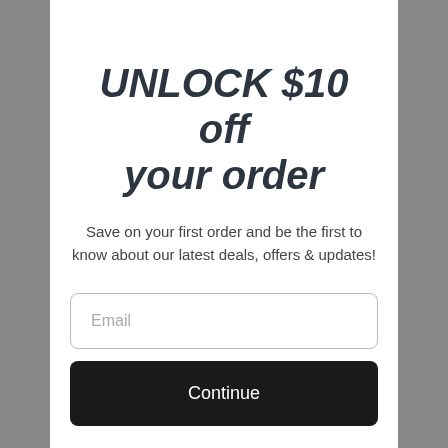UNLOCK $10 off your order
Save on your first order and be the first to know about our latest deals, offers & updates!
Email
Continue